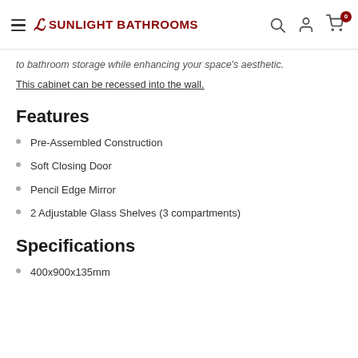Sunlight Bathrooms
to bathroom storage while enhancing your space's aesthetic.
This cabinet can be recessed into the wall.
Features
Pre-Assembled Construction
Soft Closing Door
Pencil Edge Mirror
2 Adjustable Glass Shelves (3 compartments)
Specifications
400x900x135mm